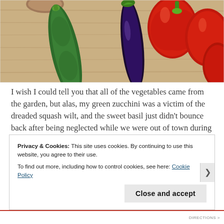[Figure (photo): Overhead photo of vegetables on a wooden cutting board: a large green zucchini, a dark purple eggplant, and red bell peppers, with a small potato visible at top.]
I wish I could tell you that all of the vegetables came from the garden, but alas, my green zucchini was a victim of the dreaded squash wilt, and the sweet basil just didn't bounce back after being neglected while we were out of town during one of the hottest, driest weeks of the summer.
Privacy & Cookies: This site uses cookies. By continuing to use this website, you agree to their use.
To find out more, including how to control cookies, see here: Cookie Policy